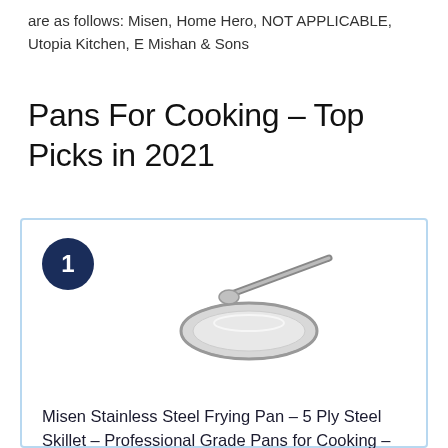are as follows: Misen, Home Hero, NOT APPLICABLE, Utopia Kitchen, E Mishan & Sons
Pans For Cooking – Top Picks in 2021
[Figure (photo): Product card with number badge '1' and a stainless steel frying pan image, showing Misen Stainless Steel Frying Pan]
Misen Stainless Steel Frying Pan – 5 Ply Steel Skillet – Professional Grade Pans for Cooking – 10 Inch Cooking Surface
Misen